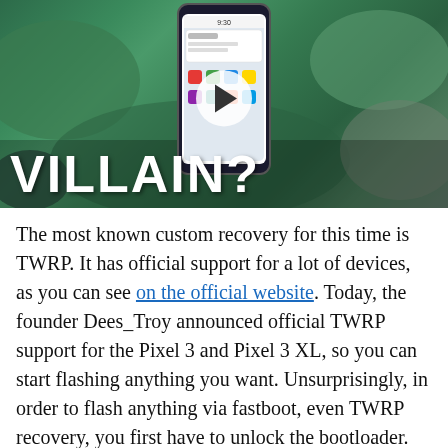[Figure (screenshot): Video thumbnail showing a smartphone with 'VILLAIN?' text overlay in large white bold letters on a green background, with a play button in the center]
The most known custom recovery for this time is TWRP. It has official support for a lot of devices, as you can see on the official website. Today, the founder Dees_Troy announced official TWRP support for the Pixel 3 and Pixel 3 XL, so you can start flashing anything you want. Unsurprisingly, in order to flash anything via fastboot, even TWRP recovery, you first have to unlock the bootloader. The instructions for the procedure are available at this link. Due to the fact that Pixel devices use A/B partitions, TWRP flashing procedure is ever so slightly more complicated than your typical 'fastboot flash' command. You have to boot TWRP via fastboot image first, and then